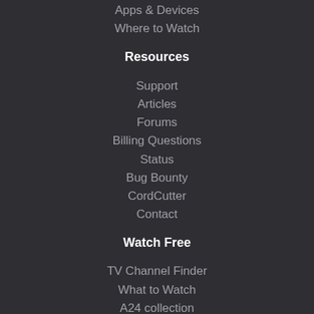Apps & Devices
Where to Watch
Resources
Support
Articles
Forums
Billing Questions
Status
Bug Bounty
CordCutter
Contact
Watch Free
TV Channel Finder
What to Watch
A24 collection